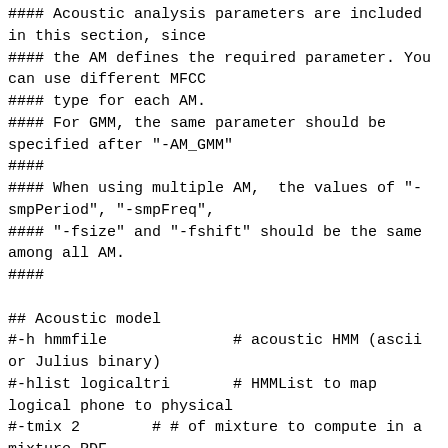#### Acoustic analysis parameters are included in this section, since
#### the AM defines the required parameter. You can use different MFCC
#### type for each AM.
#### For GMM, the same parameter should be specified after "-AM_GMM"
####
#### When using multiple AM,  the values of "-smpPeriod", "-smpFreq",
#### "-fsize" and "-fshift" should be the same among all AM.
####

## Acoustic model
#-h hmmfile              # acoustic HMM (ascii or Julius binary)
#-hlist logicaltri       # HMMList to map logical phone to physical
#-tmix 2        # # of mixture to compute in a mixture PDF